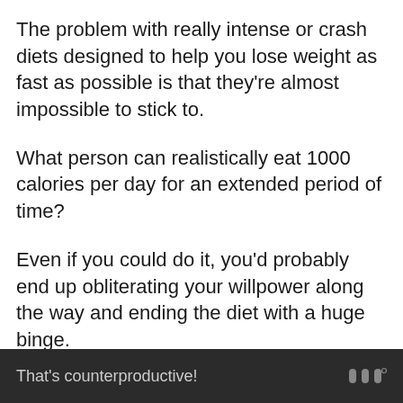The problem with really intense or crash diets designed to help you lose weight as fast as possible is that they're almost impossible to stick to.
What person can realistically eat 1000 calories per day for an extended period of time?
Even if you could do it, you'd probably end up obliterating your willpower along the way and ending the diet with a huge binge.
That's counterproductive!